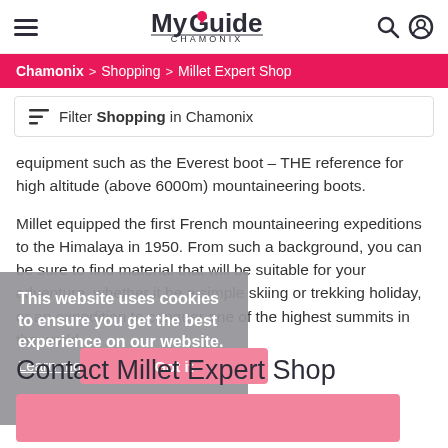MyGuide CHAMONIX
Chamonix > Shopping > Millet Expert Shop
Filter Shopping in Chamonix
equipment such as the Everest boot – THE reference for high altitude (above 6000m) mountaineering boots.
Millet equipped the first French mountaineering expeditions to the Himalaya in 1950. From such a background, you can be sure to find material that will be suitable for your adventure, whether it be a simple skiing or trekking holiday, or an expedition to conquer one of the highest summits in the world.
This website uses cookies to ensure you get the best experience on our website.
Learn more
Contact Millet Expert Shop